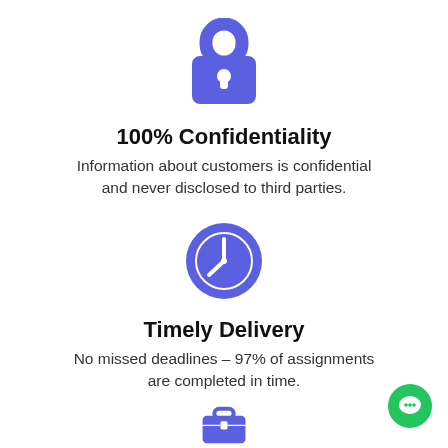[Figure (illustration): Blue padlock icon representing confidentiality]
100% Confidentiality
Information about customers is confidential and never disclosed to third parties.
[Figure (illustration): Blue circle clock icon representing timely delivery]
Timely Delivery
No missed deadlines – 97% of assignments are completed in time.
[Figure (illustration): Blue briefcase/bag icon partially visible at bottom]
[Figure (illustration): Green chat bubble icon in bottom right corner]